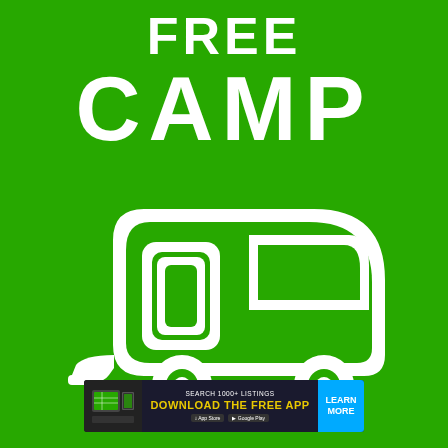FREE CAMP
[Figure (illustration): White silhouette icon of a teardrop camping trailer/caravan on green background. The trailer shows a door with rounded rectangle window, a triangular side window, two wheels, and a tow hitch on the left side.]
[Figure (infographic): Dark footer banner reading: SEARCH 1000+ LISTINGS / DOWNLOAD THE FREE APP / App Store / Google Play / LEARN MORE (in blue button on right). Left side has small map/image thumbnail.]